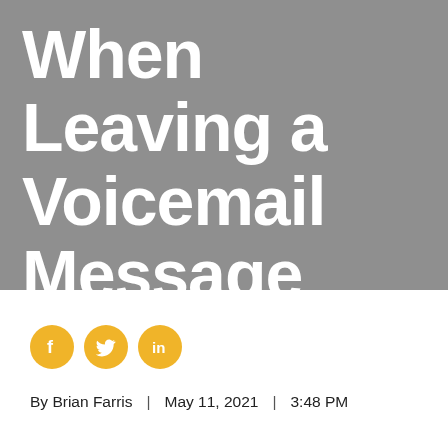When Leaving a Voicemail Message
[Figure (illustration): Three social media share icons (Facebook, Twitter, LinkedIn) as gold/yellow circles with white logos]
By Brian Farris   |   May 11, 2021   |   3:48 PM